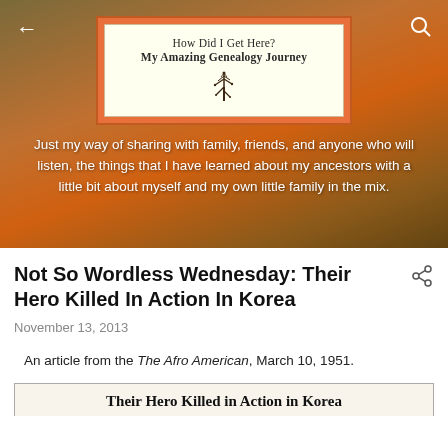[Figure (screenshot): Blog header banner with sunset/cloudy sky background, blog logo reading 'How Did I Get Here? My Amazing Genealogy Journey' with a tree icon, and tagline text below.]
Not So Wordless Wednesday: Their Hero Killed In Action In Korea
November 13, 2013
An article from the The Afro American, March 10, 1951.
Their Hero Killed in Action in Korea